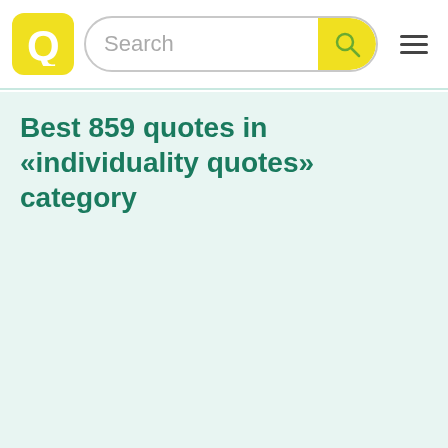Search
Best 859 quotes in «individuality quotes» category